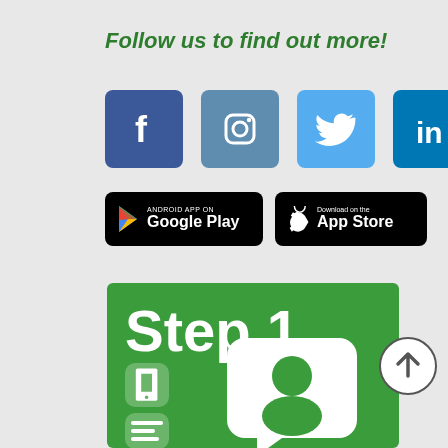Follow us to find out more!
[Figure (infographic): Four social media icons: Facebook (blue), Instagram (steel blue), Twitter (light blue), LinkedIn (dark blue)]
[Figure (infographic): Two app store badges: Android App on Google Play, and Download on the App Store]
[Figure (infographic): Green banner showing Step 1 with icons for phone, SMS, email and a person profile chat bubble illustration]